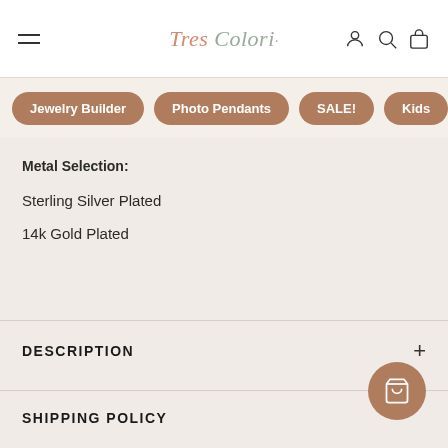Tres Colori
Jewelry Builder
Photo Pendants
SALE!
Kids
Metal Selection:
Sterling Silver Plated
14k Gold Plated
DESCRIPTION
SHIPPING POLICY